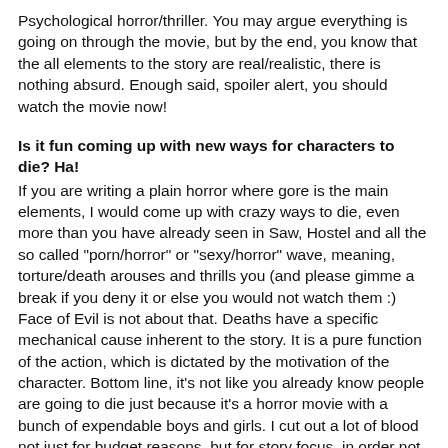Psychological horror/thriller. You may argue everything is going on through the movie, but by the end, you know that the all elements to the story are real/realistic, there is nothing absurd. Enough said, spoiler alert, you should watch the movie now!
Is it fun coming up with new ways for characters to die? Ha!
If you are writing a plain horror where gore is the main elements, I would come up with crazy ways to die, even more than you have already seen in Saw, Hostel and all the so called "porn/horror" or "sexy/horror" wave, meaning, torture/death arouses and thrills you (and please gimme a break if you deny it or else you would not watch them :) Face of Evil is not about that. Deaths have a specific mechanical cause inherent to the story. It is a pure function of the action, which is dictated by the motivation of the character. Bottom line, it's not like you already know people are going to die just because it's a horror movie with a bunch of expendable boys and girls. I cut out a lot of blood not just for budget reasons, but for story focus, in order not to digress and distract with useless, already seen, bloody murders, but stay